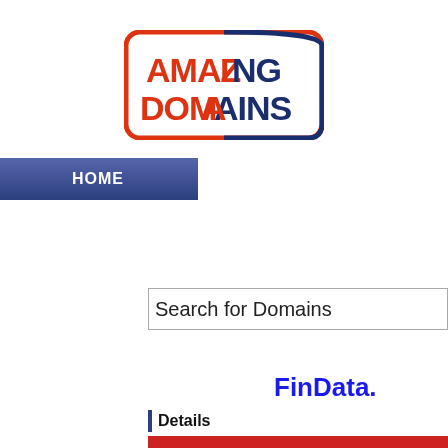[Figure (logo): Amazing Domains logo: bold text 'AMAZING DOMAINS' with orange and navy blue colors inside a rounded rectangle border, orange on left side and navy blue on right side.]
HOME
Search for Domains
FinData.
Details